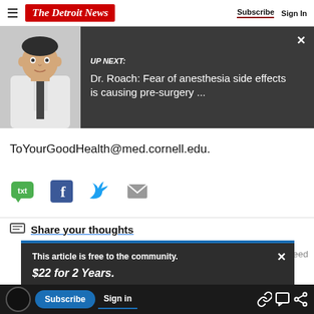The Detroit News | Subscribe | Sign In
[Figure (screenshot): UP NEXT banner with doctor photo. Text: UP NEXT: Dr. Roach: Fear of anesthesia side effects is causing pre-surgery ...]
ToYourGoodHealth@med.cornell.edu.
[Figure (infographic): Social share icons: txt (green), Facebook, Twitter, email]
Share your thoughts
This article is free to the community.
$22 for 2 Years.
Subscribe now